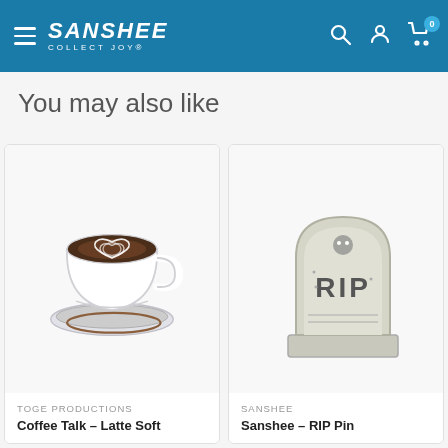Sanshee – Collect Joy
You may also like
[Figure (photo): Coffee Talk Latte art enamel pin product image – white coffee cup with brown latte art swirl on saucer]
TOGE PRODUCTIONS
Coffee Talk – Latte Soft
[Figure (photo): Sanshee RIP tombstone enamel pin – gray tombstone with RIP text and skull/ghost icon, partially cropped]
SANSHEE
Sanshee – RIP Pin